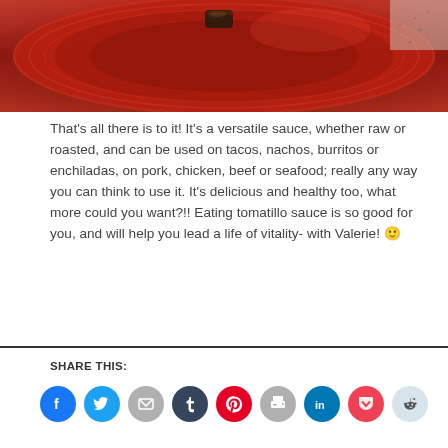[Figure (photo): Photo of food (dark glazed piece) on a shiny red plate, viewed from above, with a speckled surface visible in the corner.]
That's all there is to it! It's a versatile sauce, whether raw or roasted, and can be used on tacos, nachos, burritos or enchiladas, on pork, chicken, beef or seafood; really any way you can think to use it. It's delicious and healthy too, what more could you want?!! Eating tomatillo sauce is so good for you, and will help you lead a life of vitality- with Valerie! 🙂
SHARE THIS:
[Figure (other): Row of social sharing icon buttons: Facebook, Twitter, Email, Tumblr, Pinterest, Print, LinkedIn, Pocket, Reddit]